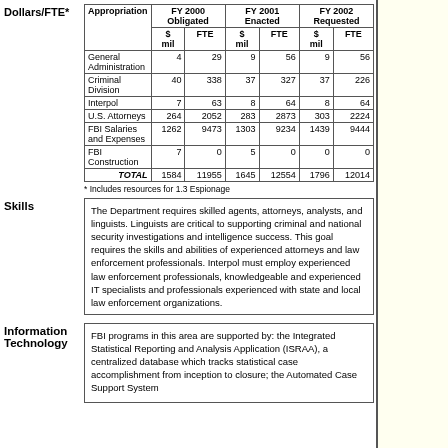| Appropriation | FY 2000 Obligated $ mil | FY 2000 Obligated FTE | FY 2001 Enacted $ mil | FY 2001 Enacted FTE | FY 2002 Requested $ mil | FY 2002 Requested FTE |
| --- | --- | --- | --- | --- | --- | --- |
| General Administration | 4 | 29 | 9 | 56 | 9 | 56 |
| Criminal Division | 40 | 338 | 37 | 327 | 37 | 226 |
| Interpol | 7 | 63 | 8 | 64 | 8 | 64 |
| U.S. Attorneys | 264 | 2052 | 283 | 2873 | 303 | 2224 |
| FBI Salaries and Expenses | 1262 | 9473 | 1303 | 9234 | 1439 | 9444 |
| FBI Construction | 7 | 0 | 5 | 0 | 0 | 0 |
| TOTAL | 1584 | 11955 | 1645 | 12554 | 1796 | 12014 |
* Includes resources for 1.3 Espionage
The Department requires skilled agents, attorneys, analysts, and linguists. Linguists are critical to supporting criminal and national security investigations and intelligence success. This goal requires the skills and abilities of experienced attorneys and law enforcement professionals. Interpol must employ experienced law enforcement professionals, knowledgeable and experienced IT specialists and professionals experienced with state and local law enforcement organizations.
FBI programs in this area are supported by: the Integrated Statistical Reporting and Analysis Application (ISRAA), a centralized database which tracks statistical case accomplishment from inception to closure; the Automated Case Support System